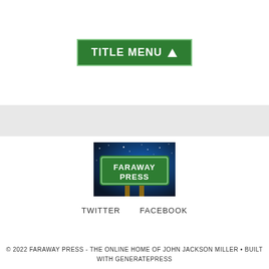[Figure (other): Green road sign button reading TITLE MENU with an upward arrow, white border, dark green background]
[Figure (photo): Photo of a green road sign reading FARAWAY PRESS against a blue starry sky background, mounted on two wooden posts]
TWITTER    FACEBOOK
© 2022 FARAWAY PRESS - THE ONLINE HOME OF JOHN JACKSON MILLER • BUILT WITH GENERATEPRESS